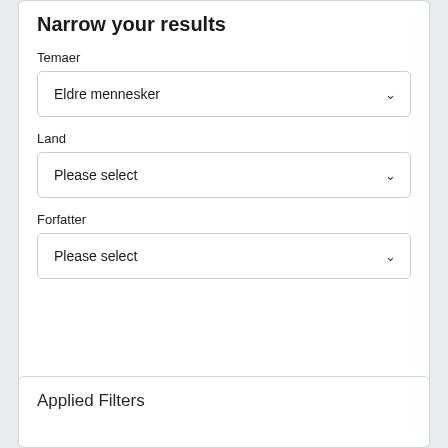Narrow your results
Temaer
Eldre mennesker
Land
Please select
Forfatter
Please select
Applied Filters